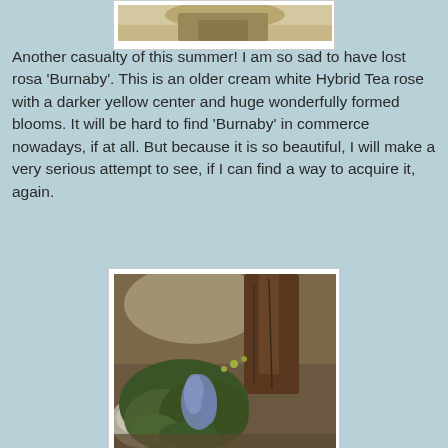[Figure (photo): Partial view of a rose plant, cropped at top of page]
Another casualty of this summer! I am so sad to have lost rosa 'Burnaby'. This is an older cream white Hybrid Tea rose with a darker yellow center and huge wonderfully formed blooms. It will be hard to find 'Burnaby' in commerce nowadays, if at all. But because it is so beautiful, I will make a very serious attempt to see, if I can find a way to acquire it, again.
[Figure (photo): Garden photo showing small blue flowers blooming among green leafy plants near tree bark and a rock]